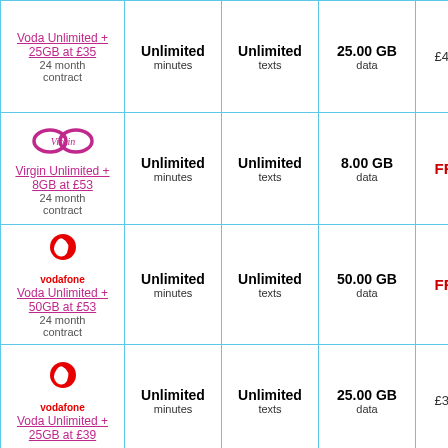| Plan | Minutes | Texts | Data | Price |
| --- | --- | --- | --- | --- |
| Voda Unlimited + 25GB at £35 / 24 month contract | Unlimited minutes | Unlimited texts | 25.00 GB data | £429.9 |
| Virgin Unlimited + 8GB at £53 / 24 month contract | Unlimited minutes | Unlimited texts | 8.00 GB data | FREE |
| Voda Unlimited + 50GB at £53 / 24 month contract | Unlimited minutes | Unlimited texts | 50.00 GB data | FREE |
| Voda Unlimited + 25GB at £39 / 24 month contract | Unlimited minutes | Unlimited texts | 25.00 GB data | £339.9 |